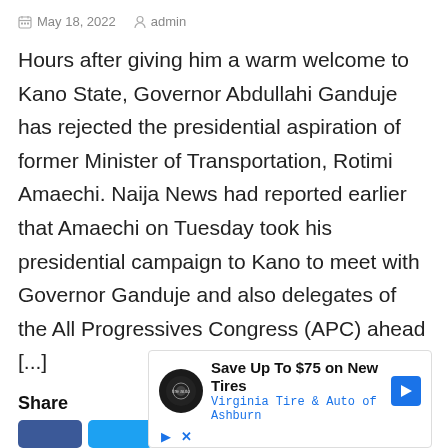May 18, 2022   admin
Hours after giving him a warm welcome to Kano State, Governor Abdullahi Ganduje has rejected the presidential aspiration of former Minister of Transportation, Rotimi Amaechi. Naija News had reported earlier that Amaechi on Tuesday took his presidential campaign to Kano to meet with Governor Ganduje and also delegates of the All Progressives Congress (APC) ahead [...]
Share
[Figure (infographic): Advertisement: Save Up To $75 on New Tires - Virginia Tire & Auto of Ashburn, with Tire Auto logo and navigation arrow icon]